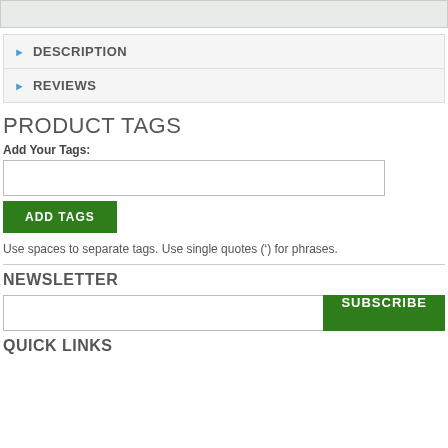DESCRIPTION
REVIEWS
PRODUCT TAGS
Add Your Tags:
ADD TAGS
Use spaces to separate tags. Use single quotes (’) for phrases.
NEWSLETTER
SUBSCRIBE
QUICK LINKS